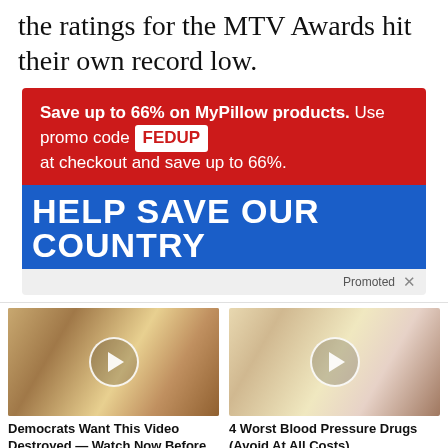the ratings for the MTV Awards hit their own record low.
[Figure (infographic): Red background ad for MyPillow with promo code FEDUP and blue banner reading HELP SAVE OUR COUNTRY. Includes 'Promoted' label with X button.]
[Figure (photo): Thumbnail image of two people (man and woman) with a video play button overlay. Caption: Democrats Want This Video Destroyed — Watch Now Before It's Banned. Fire count: 186,222]
[Figure (photo): Thumbnail image of a mouth/tongue with a pill, video play button overlay. Caption: 4 Worst Blood Pressure Drugs (Avoid At All Costs). Fire count: 71,954]